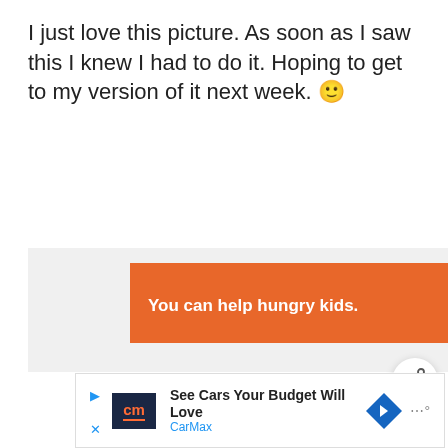I just love this picture. As soon as I saw this I knew I had to do it. Hoping to get to my version of it next week. 🙂
[Figure (screenshot): Orange advertisement banner: 'You can help hungry kids.' with No Kid Hungry logo and 'LEARN HOW' button, with close X button]
[Figure (screenshot): Share button (circular, white with share icon)]
[Figure (screenshot): What's Next section with thumbnail and text 'FREE SVG Cut Files for Cri...']
[Figure (screenshot): CarMax advertisement banner: 'See Cars Your Budget Will Love' with CarMax branding]